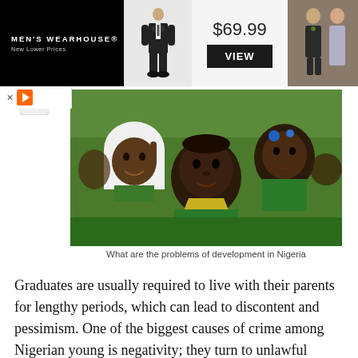[Figure (screenshot): Men's Wearhouse advertisement banner showing a suit for $69.99 with a VIEW button, a model in a suit, and a couple in formal wear]
[Figure (photo): Group of Nigerian school children smiling at the camera, wearing green and yellow school uniforms, one girl wearing a white hijab]
What are the problems of development in Nigeria
Graduates are usually required to live with their parents for lengthy periods, which can lead to discontent and pessimism. One of the biggest causes of crime among Nigerian young is negativity; they turn to unlawful activities since they have nothing better to do with their time or money. Every year,